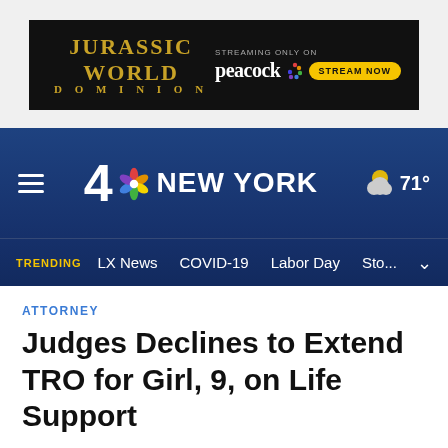[Figure (other): Jurassic World Dominion advertisement banner - streaming only on Peacock, Stream Now button]
4 NBC NEW YORK  71°
TRENDING  LX News  COVID-19  Labor Day  Sto...
ATTORNEY
Judges Declines to Extend TRO for Girl, 9, on Life Support
The temporary restraining order will expire Monday at 1:20 p.m.
By Ben Russell • Published October 10, 2018 • Updated on October 11, 2018 at 5:52 am